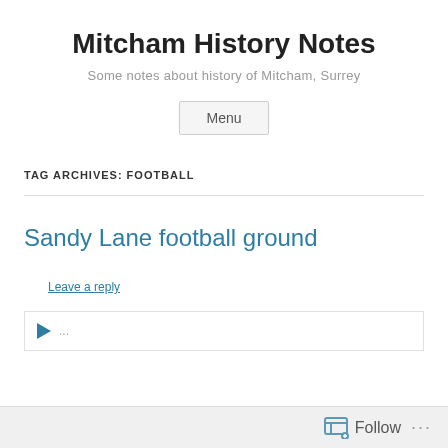Mitcham History Notes
Some notes about history of Mitcham, Surrey
Menu
TAG ARCHIVES: FOOTBALL
Sandy Lane football ground
Leave a reply
Follow ...